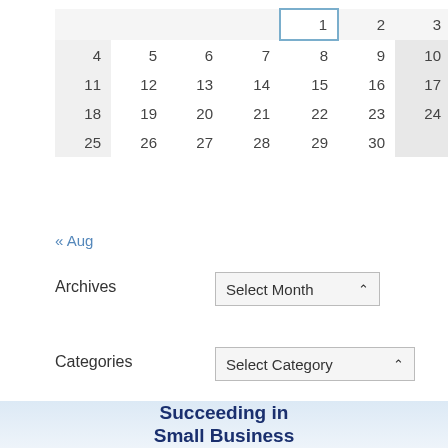| Sun | Mon | Tue | Wed | Thu | Fri | Sat |
| --- | --- | --- | --- | --- | --- | --- |
|  |  |  |  | 1 | 2 | 3 |
| 4 | 5 | 6 | 7 | 8 | 9 | 10 |
| 11 | 12 | 13 | 14 | 15 | 16 | 17 |
| 18 | 19 | 20 | 21 | 22 | 23 | 24 |
| 25 | 26 | 27 | 28 | 29 | 30 |  |
« Aug
Archives
Select Month
Categories
Select Category
Succeeding in Small Business